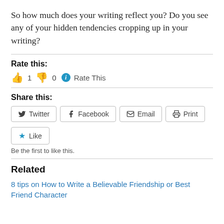So how much does your writing reflect you? Do you see any of your hidden tendencies cropping up in your writing?
Rate this:
👍 1 👎 0 ℹ Rate This
Share this:
Twitter  Facebook  Email  Print
Like
Be the first to like this.
Related
8 tips on How to Write a Believable Friendship or Best Friend Character